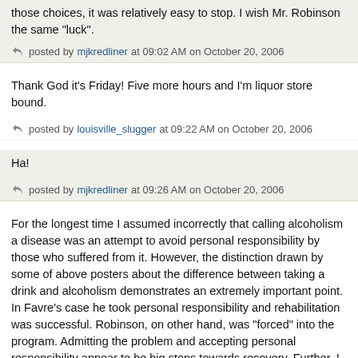those choices, it was relatively easy to stop. I wish Mr. Robinson the same "luck".
posted by mjkredliner at 09:02 AM on October 20, 2006
Thank God it's Friday! Five more hours and I'm liquor store bound.
posted by louisville_slugger at 09:22 AM on October 20, 2006
Ha!
posted by mjkredliner at 09:26 AM on October 20, 2006
For the longest time I assumed incorrectly that calling alcoholism a disease was an attempt to avoid personal responsibility by those who suffered from it. However, the distinction drawn by some of above posters about the difference between taking a drink and alcoholism demonstrates an extremely important point. In Favre's case he took personal responsibility and rehabilitation was successful. Robinson, on other hand, was "forced" into the program. Admitting the problem and accepting personal responsibility appear to be big steps towards recovery. Further, I think most who understand alcoholism as a disease would insist that its cure includes and perhaps even hinges on the person accepting full responsiblity for his or her choice to drink. That said, I also know that focus is placed on "friends" who may be feeding the addiction and the import of severing company from them